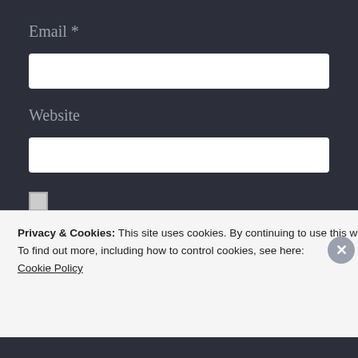Email *
[Figure (other): Empty text input field for Email]
Website
[Figure (other): Empty text input field for Website]
[Figure (other): Checkbox (unchecked)]
Save my name, email, and website in this browser for the next time I comment.
Privacy & Cookies: This site uses cookies. By continuing to use this website, you agree to their use.
To find out more, including how to control cookies, see here: Cookie Policy
Close and accept